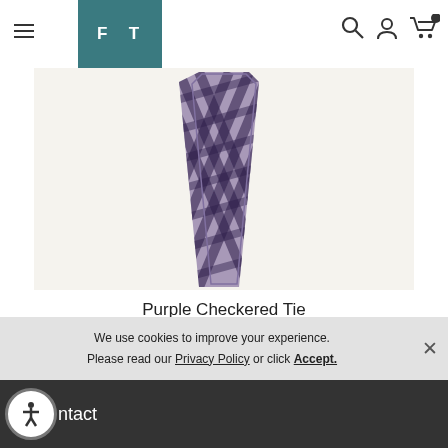FT (logo navigation bar with hamburger menu, search, user, and cart icons)
[Figure (photo): A purple and white checkered necktie displayed vertically on a light beige/cream background.]
Purple Checkered Tie
We use cookies to improve your experience. Please read our Privacy Policy or click Accept.
Contact (with accessibility icon)